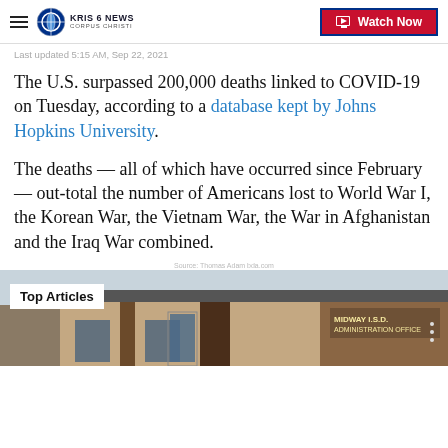KRIS 6 NEWS CORPUS CHRISTI — Watch Now
Last updated 5:15 AM, Sep 22, 2021
The U.S. surpassed 200,000 deaths linked to COVID-19 on Tuesday, according to a database kept by Johns Hopkins University.
The deaths — all of which have occurred since February — out-total the number of Americans lost to World War I, the Korean War, the Vietnam War, the War in Afghanistan and the Iraq War combined.
Source: Thomas Adam bda.com
[Figure (photo): Exterior brick building with sign reading MIDWAY I.S.D. ADMINISTRATION OFFICE with overlay label 'Top Articles']